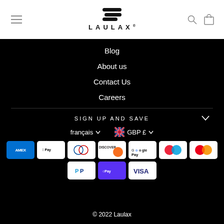LAULAX
Blog
About us
Contact Us
Careers
SIGN UP AND SAVE
français  GBP £
[Figure (other): Payment method icons: American Express, Apple Pay, Diners Club, Discover, Google Pay, Maestro, Mastercard, PayPal, Shop Pay, Visa]
© 2022 Laulax